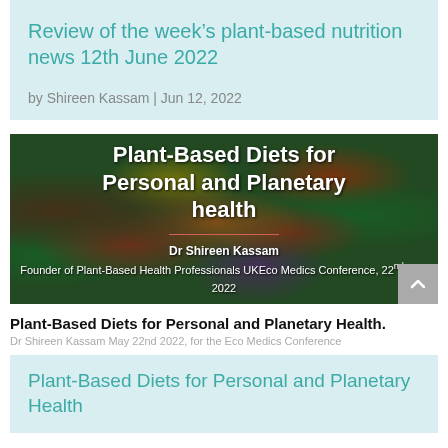Review of the week’s plant-based nutrition news 12th June 2022
by Shireen Kassam | Jun 12, 2022
[Figure (photo): Presentation slide title card showing 'Plant-Based Diets for Personal and Planetary health' by Dr Shireen Kassam, Founder of Plant-Based Health Professionals UK, Eco Medics Conference, 22nd May 2022, over a background of vegetables]
Plant-Based Diets for Personal and Planetary Health.
Dr Shireen Kassam May 22nd 2022, for the Eco Medics Conference
Plant-Based Diets for Personal and Planetary Health